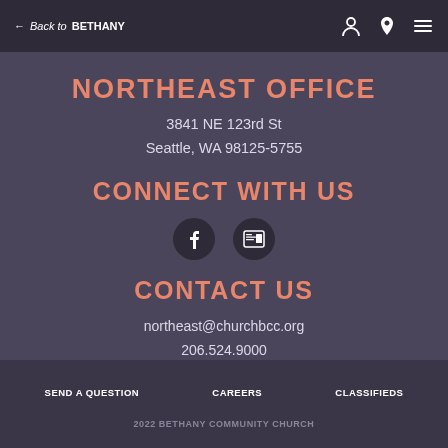← Back to BETHANY
NORTHEAST OFFICE
3841 NE 123rd St
Seattle, WA 98125-5755
CONNECT WITH US
[Figure (other): Facebook and newsletter social media icon buttons]
CONTACT US
northeast@churchbcc.org
206.524.9000
SEND A QUESTION
CAREERS
CLASSIFIEDS
2022 BETHANY COMMUNITY CHURCH